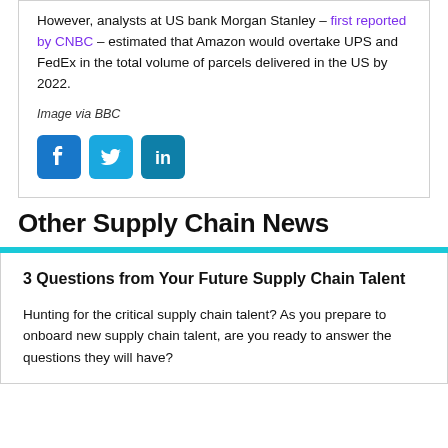However, analysts at US bank Morgan Stanley – first reported by CNBC – estimated that Amazon would overtake UPS and FedEx in the total volume of parcels delivered in the US by 2022.
Image via BBC
[Figure (other): Social media share buttons: Facebook, Twitter, LinkedIn]
Other Supply Chain News
3 Questions from Your Future Supply Chain Talent
Hunting for the critical supply chain talent? As you prepare to onboard new supply chain talent, are you ready to answer the questions they will have?